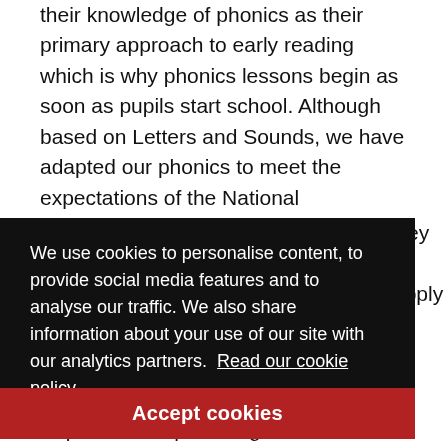their knowledge of phonics as their primary approach to early reading which is why phonics lessons begin as soon as pupils start school. Although based on Letters and Sounds, we have adapted our phonics to meet the expectations of the National Curriculum, ensuring that pupils have the necessary speaking and listening skills first before learning the letters or combination of letters
We use cookies to personalise content, to provide social media features and to analyse our traffic. We also share information about your use of our site with our analytics partners. Read our cookie policy.
Key apply s e ge
Accept cookies
Pupils in Reception begin to read in small groups so that